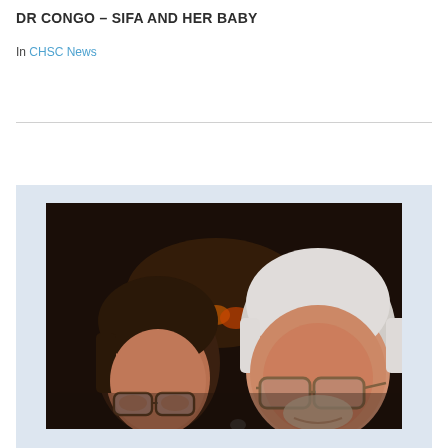DR CONGO – SIFA AND HER BABY
In CHSC News
[Figure (photo): A photograph showing two people: a younger person with dark hair and glasses in the foreground-left, and an older man with white hair, glasses, and a light complexion in the foreground-right. The background is dark with warm orange/amber lights visible.]